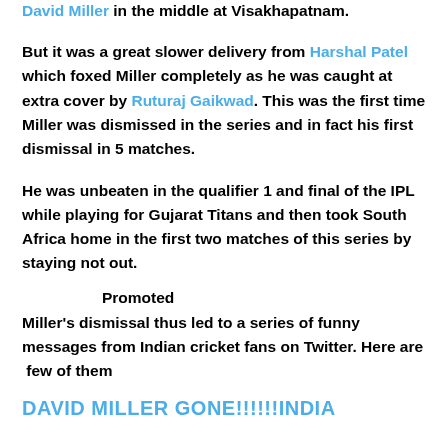David Miller in the middle at Visakhapatnam.
But it was a great slower delivery from Harshal Patel which foxed Miller completely as he was caught at extra cover by Ruturaj Gaikwad. This was the first time Miller was dismissed in the series and in fact his first dismissal in 5 matches.
He was unbeaten in the qualifier 1 and final of the IPL while playing for Gujarat Titans and then took South Africa home in the first two matches of this series by staying not out.
Promoted
Miller's dismissal thus led to a series of funny messages from Indian cricket fans on Twitter. Here are  few of them
DAVID MILLER GONE!!!!!!INDIA